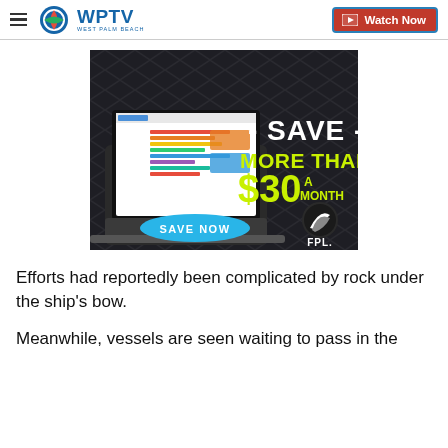WPTV | Watch Now
[Figure (illustration): FPL advertisement showing a laptop with energy management dashboard, text reading 'SAVE MORE THAN $30 A MONTH', blue SAVE NOW button, FPL logo on dark chevron background]
Efforts had reportedly been complicated by rock under the ship's bow.
Meanwhile, vessels are seen waiting to pass in the